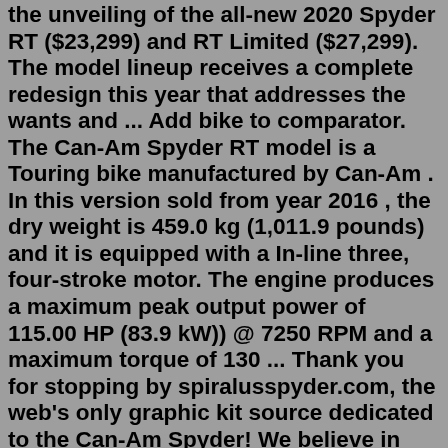the unveiling of the all-new 2020 Spyder RT ($23,299) and RT Limited ($27,299). The model lineup receives a complete redesign this year that addresses the wants and ... Add bike to comparator. The Can-Am Spyder RT model is a Touring bike manufactured by Can-Am . In this version sold from year 2016 , the dry weight is 459.0 kg (1,011.9 pounds) and it is equipped with a In-line three, four-stroke motor. The engine produces a maximum peak output power of 115.00 HP (83.9 kW)) @ 7250 RPM and a maximum torque of 130 ... Thank you for stopping by spiralusspyder.com, the web's only graphic kit source dedicated to the Can-Am Spyder! We believe in putting the power of customization in your hands; ask us about our complimentary modification program to any of our existing kits. Or, for your own personal touch, create something from scratch.The Can-Am Spyder RT has two types of transmissions - a standard five-speed (SM5), plus a semi-automatic version (SE5) with a paddle-shifter. As the RT is about relaxing and enjoying the scenery... Open the